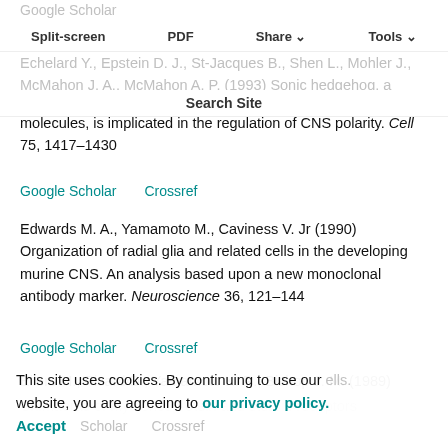Google Scholar (faded/ghost — partially visible at top)
Split-screen   PDF   Share ▾   Tools ▾
Echelard Y., Epstein D. J., St-Jacques B., Shen L., Mohler J., McMahon J. A., McMahon A. P. (1993) Sonic hedgehog, a member of a family of putative signaling molecules, is implicated in the regulation of CNS polarity. Cell 75, 1417–1430
Google Scholar   Crossref
Search Site
Edwards M. A., Yamamoto M., Caviness V. Jr (1990) Organization of radial glia and related cells in the developing murine CNS. An analysis based upon a new monoclonal antibody marker. Neuroscience 36, 121–144
Google Scholar   Crossref
Eilers M., Picard D., Yamamoto K. R., Bishop J. M. (1989) Chimaeras of myc oncoprotein and steroid receptors (faded)
This site uses cookies. By continuing to use our website, you are agreeing to our privacy policy. Accept